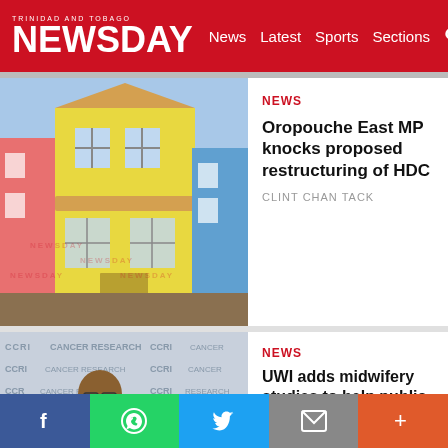TRINIDAD AND TOBAGO NEWSDAY — News  Latest  Sports  Sections
[Figure (photo): Row of colorful yellow and pink two-story townhouses with a muddy road in front]
NEWS
Oropouche East MP knocks proposed restructuring of HDC
CLINT CHAN TACK
[Figure (photo): Man in orange shirt and suit jacket in front of CCRI Cancer Research banner backdrop]
NEWS
UWI adds midwifery studies to help public health gap
JANELLE DE SOUZA
f  WhatsApp  Twitter  Email  +